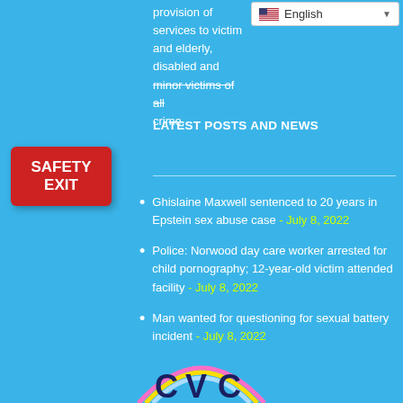provision of services to victims, and elderly, disabled and minor victims of all crime.
[Figure (screenshot): English language dropdown selector with US flag icon]
LATEST POSTS AND NEWS
[Figure (other): Red SAFETY EXIT button]
Ghislaine Maxwell sentenced to 20 years in Epstein sex abuse case - July 8, 2022
Police: Norwood day care worker arrested for child pornography; 12-year-old victim attended facility - July 8, 2022
Man wanted for questioning for sexual battery incident - July 8, 2022
[Figure (logo): CVC logo partially visible at bottom of page]